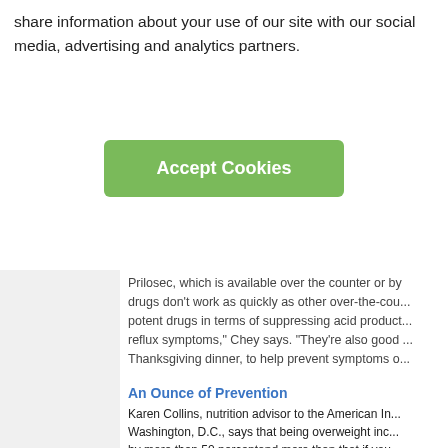share information about your use of our site with our social media, advertising and analytics partners.
Accept Cookies
Prilosec, which is available over the counter or by prescription. These drugs don't work as quickly as other over-the-counter options but are the most potent drugs in terms of suppressing acid production and relieving acid reflux symptoms," Chey says. "They're also good to take before a big Thanksgiving dinner, to help prevent symptoms of heartburn."
An Ounce of Prevention
Karen Collins, nutrition advisor to the American Institute for Cancer Research in Washington, D.C., says that being overweight increases the risk of heartburn by more than 50 percentand more than that if you're obese. Even a weight gain of more than 10 to 20 pounds is linked to an increased risk of frequent heartburn symptoms, she adds.
The link between overweight and risk of GERD is well established, though hard to explain why it occurs, Collins says. One recent study found a body mass index that corresponded to a 10- to 20-pound weight gain was linked to a 4 percent increase in stomach pressure.
Excess body fat, particularly around the belly, increases abdominal pressure which, in turn, increases pressure in the stomach. The ...